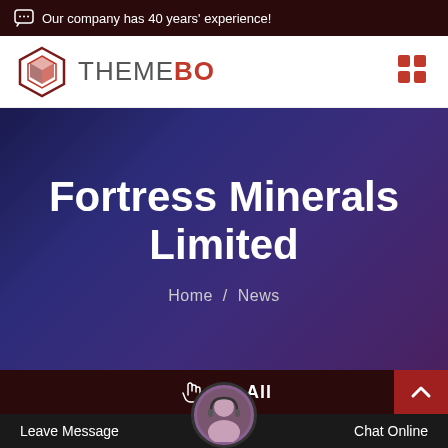Our company has 40 years' experience!
[Figure (logo): ThemeBo logo with hexagonal box icon and text THEMEBO, with grid icon on right]
Fortress Minerals Limited
Home / News
[Figure (screenshot): Bottom navigation bar with hand cursor icon and 'All' text, back-to-top button, chat avatar, Leave Message and Chat Online footer]
Leave Message  Chat Online